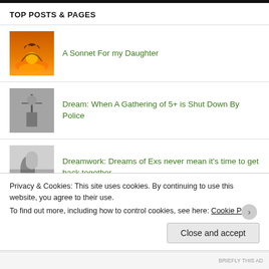TOP POSTS & PAGES
A Sonnet For my Daughter
Dream: When A Gathering of 5+ is Shut Down By Police
Dreamwork: Dreams of Exs never mean it's time to get back together
Dream: my Metaphoric Sister Flirting With My Metaphoric Boyfriend
Dream: a Roller Coaster, Vacuum & Bicycle
Privacy & Cookies: This site uses cookies. By continuing to use this website, you agree to their use.
To find out more, including how to control cookies, see here: Cookie Policy
Close and accept